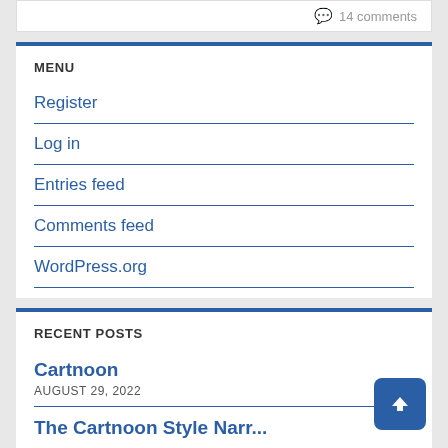14 comments
MENU
Register
Log in
Entries feed
Comments feed
WordPress.org
RECENT POSTS
Cartnoon
AUGUST 29, 2022